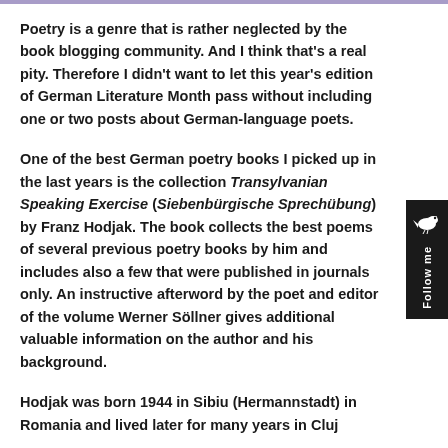Poetry is a genre that is rather neglected by the book blogging community. And I think that's a real pity. Therefore I didn't want to let this year's edition of German Literature Month pass without including one or two posts about German-language poets.
One of the best German poetry books I picked up in the last years is the collection Transylvanian Speaking Exercise (Siebenbürgische Sprechübung) by Franz Hodjak. The book collects the best poems of several previous poetry books by him and includes also a few that were published in journals only. An instructive afterword by the poet and editor of the volume Werner Söllner gives additional valuable information on the author and his background.
Hodjak was born 1944 in Sibiu (Hermannstadt) in Romania and lived later for many years in Cluj